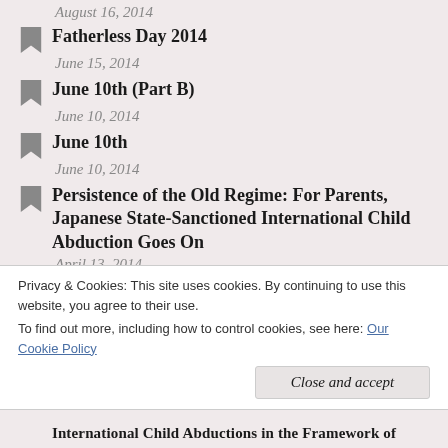August 16, 2014
Fatherless Day 2014
June 15, 2014
June 10th (Part B)
June 10, 2014
June 10th
June 10, 2014
Persistence of the Old Regime: For Parents, Japanese State-Sanctioned International Child Abduction Goes On
April 13, 2014
12 o'clock
Privacy & Cookies: This site uses cookies. By continuing to use this website, you agree to their use.
To find out more, including how to control cookies, see here: Our Cookie Policy
Close and accept
International Child Abductions in the Framework of